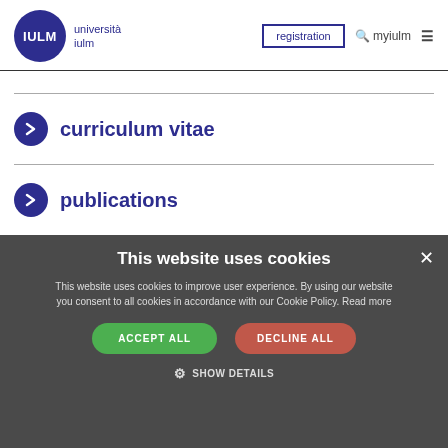[Figure (logo): IULM università iulm logo - dark blue circle with IULM text]
registration  myiulm  ≡
curriculum vitae
publications
This website uses cookies
This website uses cookies to improve user experience. By using our website you consent to all cookies in accordance with our Cookie Policy. Read more
ACCEPT ALL   DECLINE ALL
⚙ SHOW DETAILS